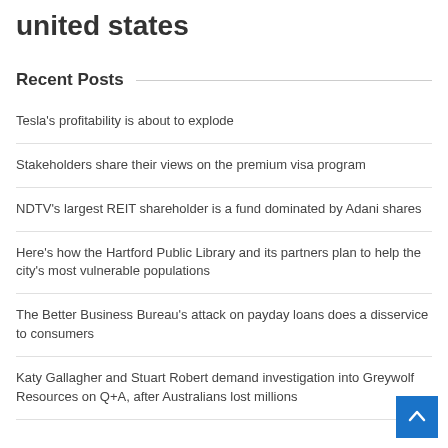united states
Recent Posts
Tesla's profitability is about to explode
Stakeholders share their views on the premium visa program
NDTV's largest REIT shareholder is a fund dominated by Adani shares
Here's how the Hartford Public Library and its partners plan to help the city's most vulnerable populations
The Better Business Bureau's attack on payday loans does a disservice to consumers
Katy Gallagher and Stuart Robert demand investigation into Greywolf Resources on Q+A, after Australians lost millions